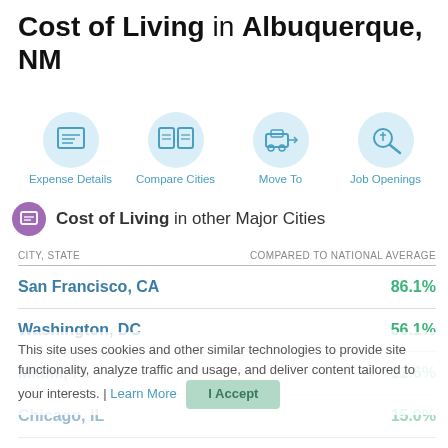Cost of Living in Albuquerque, NM
[Figure (infographic): Four navigation icon circles: Expense Details, Compare Cities, Move To, Job Openings]
Cost of Living in other Major Cities
| CITY, STATE | COMPARED TO NATIONAL AVERAGE |
| --- | --- |
| San Francisco, CA | 86.1% |
| Washington, DC | 56.1% |
| Miami, FL | 11.6% |
| Chicago, IL | 15.0% |
| Boston, MA | 51.0% |
This site uses cookies and other similar technologies to provide site functionality, analyze traffic and usage, and deliver content tailored to your interests. | Learn More
I Accept